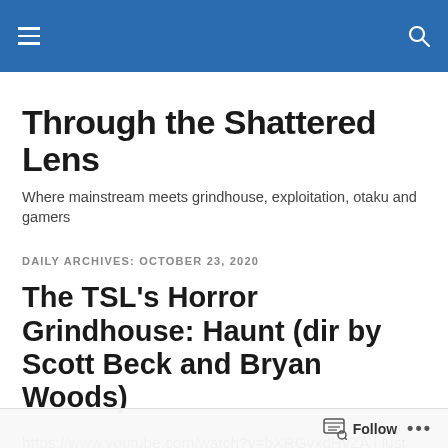Through the Shattered Lens — site navigation header bar
Through the Shattered Lens
Where mainstream meets grindhouse, exploitation, otaku and gamers
DAILY ARCHIVES: OCTOBER 23, 2020
The TSL's Horror Grindhouse: Haunt (dir by Scott Beck and Bryan Woods)
https://www.youtube.com/watch?v=bXRGvxdHvZA I just watched the 2019 haunted house/slasher hybrid Haunt on
Follow